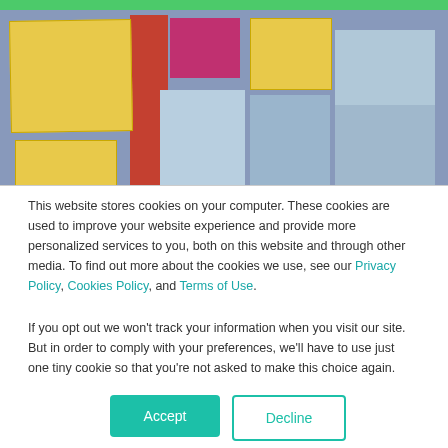[Figure (photo): Photo of a wall covered with sticky notes in yellow, blue, pink/magenta colors, with a vertical green bar at top]
This website stores cookies on your computer. These cookies are used to improve your website experience and provide more personalized services to you, both on this website and through other media. To find out more about the cookies we use, see our Privacy Policy, Cookies Policy, and Terms of Use.
If you opt out we won't track your information when you visit our site. But in order to comply with your preferences, we'll have to use just one tiny cookie so that you're not asked to make this choice again.
Accept
Decline